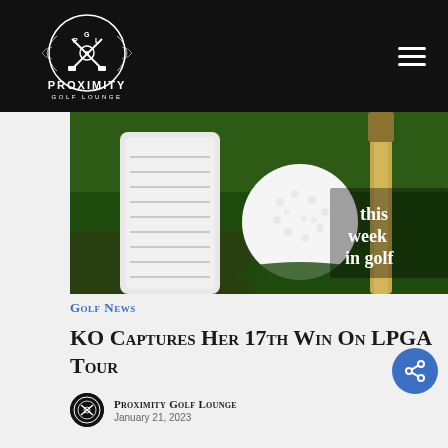Proximity Golf Lounge
[Figure (photo): Close-up photo of a golf ball on green grass next to a golf club driver, with text overlay 'this week in golf' on the right side]
Golf News
KO Captures Her 17th Win On LPGA Tour
Proximity Golf Lounge
January 21, 2023